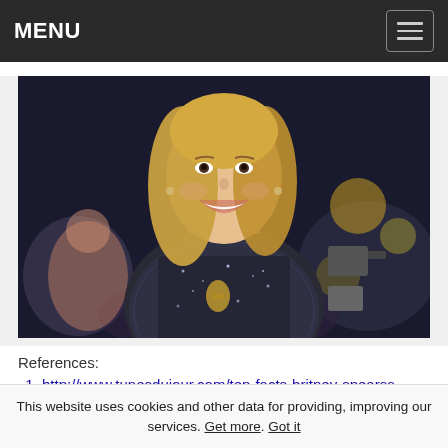MENU
[Figure (photo): A smiling blonde woman wearing a sparkly/sequined outfit and diamond necklace at what appears to be a public event with photographers and audience members in the background.]
References:
http://www.tunesdujour.com/ten-facts-britney-spearss-toxic/
This website uses cookies and other data for providing, improving our services. Get more. Got it